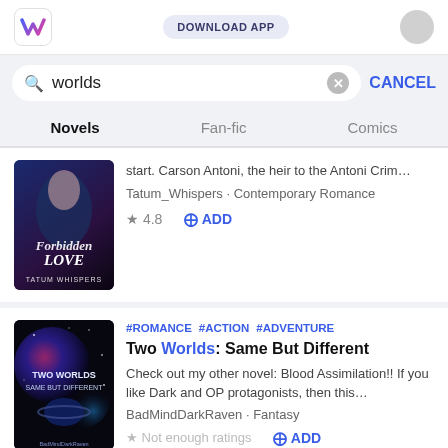[Figure (screenshot): App logo/icon with stylized 'W' in blue-pink gradient on white rounded square]
DOWNLOAD APP
worlds
CANCEL
Novels
Fan-fic
Comics
[Figure (illustration): Book cover: Forbidden Love by Tatum Whispers – dark blue fantasy romance cover]
start. Carson Antoni, the heir to the Antoni Crim...
Tatum_Whispers · Contemporary Romance
★ 4.8
⊕ ADD
[Figure (illustration): Book cover: Two Worlds Same But Different by BadMindDarkRaven – space/nebula dark cover]
#ROMANCE #ACTION #ADVENTURE
Two Worlds: Same But Different
Check out my other novel: Blood Assimilation!! If you like Dark and OP protagonists, then this...
BadMindDarkRaven · Fantasy
★ Not enough ratings
⊕ ADD